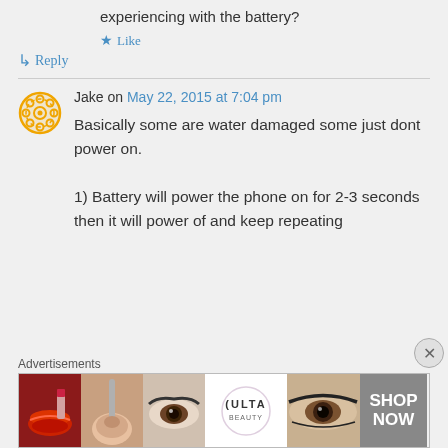experiencing with the battery?
★ Like
↳ Reply
Jake on May 22, 2015 at 7:04 pm
Basically some are water damaged some just dont power on.

1) Battery will power the phone on for 2-3 seconds then it will power of and keep repeating
Advertisements
[Figure (photo): Ulta beauty advertisement banner showing makeup/beauty photos with 'SHOP NOW' text]